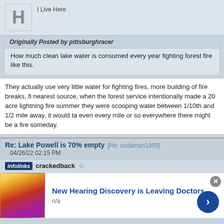I Live Here
Originally Posted by pittsburghracer
How much clean lake water is consumed every year fighting forest fires like this.
They actually use very little water for fighting fires, more building of fire breaks, fi... nearest source, when the forest service intentionally made a 20 acre lightning fire summer they were scooping water between 1/10th and 1/2 mile away, it would ta... even every mile or so everywhere there might be a fire someday.
Re: Lake Powell is 70% empty [Re: cudaman1969]
04/26/22 02:15 PM
crackedback
[Figure (infographic): Infolinks advertisement banner with ear anatomy image. Title: New Hearing Discovery is Leaving Doctors. Subtitle: n/a]
New Hearing Discovery is Leaving Doctors
n/a